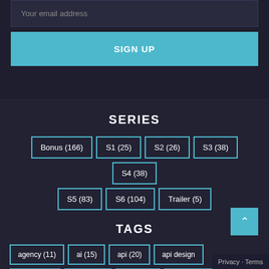Your email address
SIGN UP
SERIES
Bonus (166)
S1 (25)
S2 (26)
S3 (38)
S4 (38)
S5 (83)
S6 (104)
Trailer (5)
TAGS
agency (11)
ai (15)
api (20)
api design
bonus (32)
ceo (129)
cloud (9)
co-found…